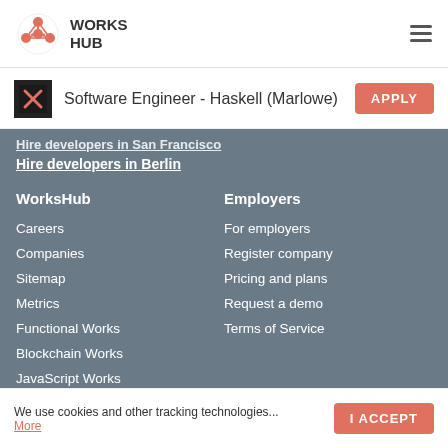WORKS HUB
Software Engineer - Haskell (Marlowe)
Hire developers in San Francisco
Hire developers in Berlin
WorksHub
Careers
Companies
Sitemap
Metrics
Functional Works
Blockchain Works
JavaScript Works
Employers
For employers
Register company
Pricing and plans
Request a demo
Terms of Service
We use cookies and other tracking technologies... More
I ACCEPT